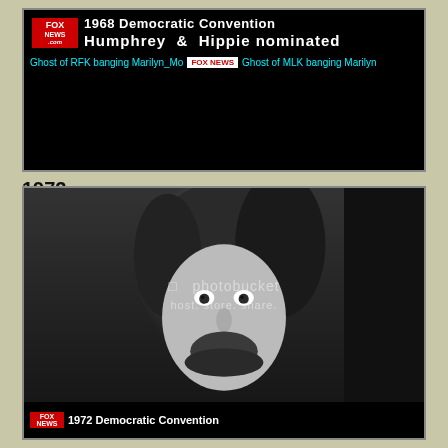[Figure (screenshot): Fox News banner showing '1968 Democratic Convention' headline and 'Humphrey & Hippie nominated' with ticker text about 'Ghost of RFK banging Marilyn_Mo' and 'Ghost of MLK banging Marilyn']
1972
[Figure (photo): Black and white mugshot-style photo of a person with long dark hair and beard, with Photobucket watermark overlay and a Fox News banner at bottom reading '1972 Democratic Convention']